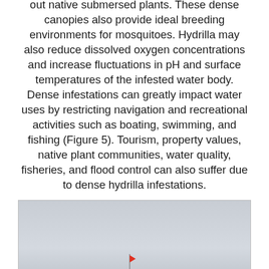out native submersed plants. These dense canopies also provide ideal breeding environments for mosquitoes. Hydrilla may also reduce dissolved oxygen concentrations and increase fluctuations in pH and surface temperatures of the infested water body. Dense infestations can greatly impact water uses by restricting navigation and recreational activities such as boating, swimming, and fishing (Figure 5). Tourism, property values, native plant communities, water quality, fisheries, and flood control can also suffer due to dense hydrilla infestations.
[Figure (photo): Photograph showing a wide open water body with overcast sky. A small red flag or marker is visible in the middle distance, and some equipment or machinery appears at the waterline along a vegetated shoreline.]